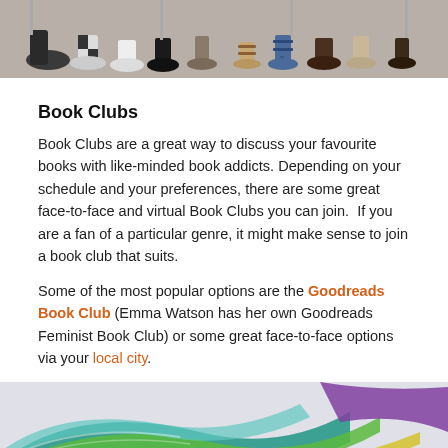[Figure (photo): Top portion of image showing feet and shoes of people sitting on chairs, visible from ankles down, on a grey floor.]
Book Clubs
Book Clubs are a great way to discuss your favourite books with like-minded book addicts. Depending on your schedule and your preferences, there are some great face-to-face and virtual Book Clubs you can join.  If you are a fan of a particular genre, it might make sense to join a book club that suits.
Some of the most popular options are the Goodreads Book Club (Emma Watson has her own Goodreads Feminist Book Club) or some great face-to-face options via your local city.
[Figure (photo): Bottom portion of image showing colorful curved abstract shapes or signage in teal, green, yellow, and purple tones.]